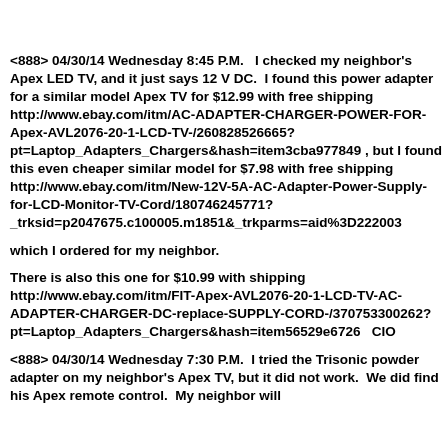<888> 04/30/14 Wednesday 8:45 P.M.   I checked my neighbor's Apex LED TV, and it just says 12 V DC.  I found this power adapter for a similar model Apex TV for $12.99 with free shipping http://www.ebay.com/itm/AC-ADAPTER-CHARGER-POWER-FOR-Apex-AVL2076-20-1-LCD-TV-/260828526665?pt=Laptop_Adapters_Chargers&hash=item3cba977849 , but I found this even cheaper similar model for $7.98 with free shipping http://www.ebay.com/itm/New-12V-5A-AC-Adapter-Power-Supply-for-LCD-Monitor-TV-Cord/180746245771?_trksid=p2047675.c100005.m1851&_trkparms=aid%3D222003
which I ordered for my neighbor.
There is also this one for $10.99 with shipping http://www.ebay.com/itm/FIT-Apex-AVL2076-20-1-LCD-TV-AC-ADAPTER-CHARGER-DC-replace-SUPPLY-CORD-/370753300262?pt=Laptop_Adapters_Chargers&hash=item56529e6726   CIO
<888> 04/30/14 Wednesday 7:30 P.M.  I tried the Trisonic powder adapter on my neighbor's Apex TV, but it did not work.  We did find his Apex remote control.  My neighbor will